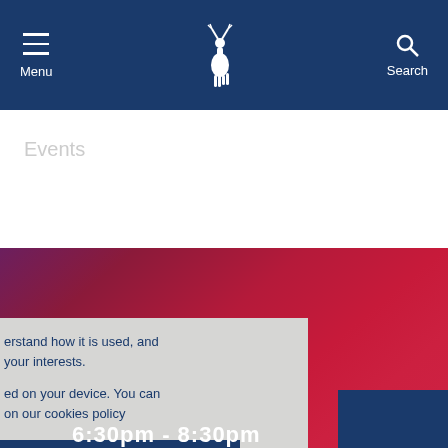Menu | [Hartlepool logo] | Search
Events
[Figure (screenshot): Gradient crimson/maroon banner background area]
erstand how it is used, and your interests.
ed on your device. You can on our cookies policy
ACCEPT
6:30pm - 8:30pm